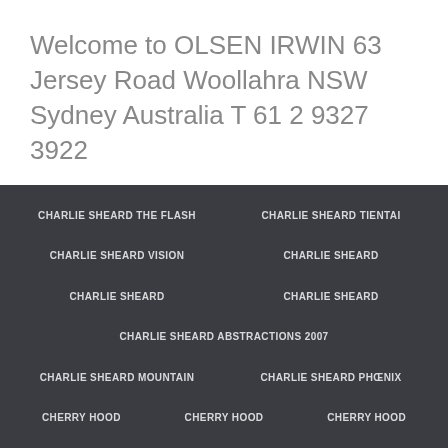Welcome to OLSEN IRWIN 63 Jersey Road Woollahra NSW Sydney Australia T 61 2 9327 3922
CHARLIE SHEARD THE FLASH
CHARLIE SHEARD TIENTAI
CHARLIE SHEARD VISION
CHARLIE SHEARD
CHARLIE SHEARD
CHARLIE SHEARD
CHARLIE SHEARD ABSTRACTIONS 2007
CHARLIE SHEARD MOUNTAIN
CHARLIE SHEARD PHŒNIX
CHERRY HOOD
CHERRY HOOD
CHERRY HOOD